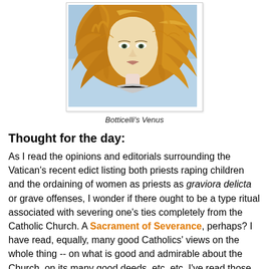[Figure (illustration): Close-up detail of Botticelli's Birth of Venus painting showing Venus's face and golden flowing hair against a light blue sky background]
Botticelli's Venus
Thought for the day:
As I read the opinions and editorials surrounding the Vatican's recent edict listing both priests raping children and the ordaining of women as priests as graviora delicta or grave offenses, I wonder if there ought to be a type ritual associated with severing one's ties completely from the Catholic Church. A Sacrament of Severance, perhaps? I have read, equally, many good Catholics' views on the whole thing -- on what is good and admirable about the Church, on its many good deeds, etc. etc. I've read those editorials, the